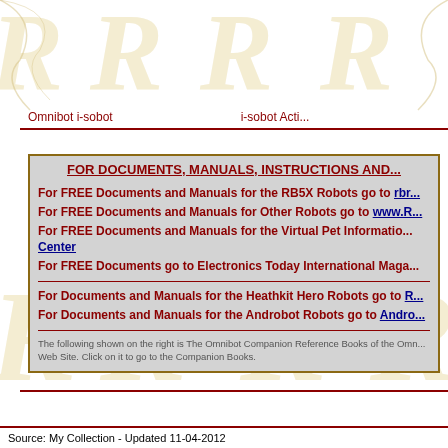Omnibot i-sobot    i-sobot Acti...
FOR DOCUMENTS, MANUALS, INSTRUCTIONS AND...
For FREE Documents and Manuals for the RB5X Robots go to rbr...
For FREE Documents and Manuals for Other Robots go to www.R...
For FREE Documents and Manuals for the Virtual Pet Information... Center
For FREE Documents go to Electronics Today International Maga...
For Documents and Manuals for the Heathkit Hero Robots go to R...
For Documents and Manuals for the Androbot Robots go to Andro...
The following shown on the right is The Omnibot Companion Reference Books of the Omn... Web Site. Click on it to go to the Companion Books.
Source: My Collection - Updated 11-04-2012